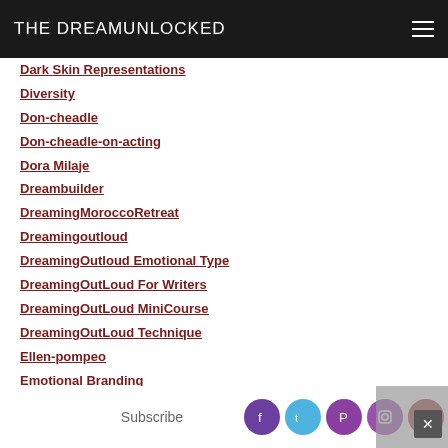THE DREAMUNLOCKED
Dark Skin Representations
Diversity
Don-cheadle
Don-cheadle-on-acting
Dora Milaje
Dreambuilder
DreamingMoroccoRetreat
Dreamingoutloud
DreamingOutloud Emotional Type
DreamingOutLoud For Writers
DreamingOutLoud MiniCourse
DreamingOutLoud Technique
Ellen-pompeo
Emotional Branding
Emotional Chords
Subscribe